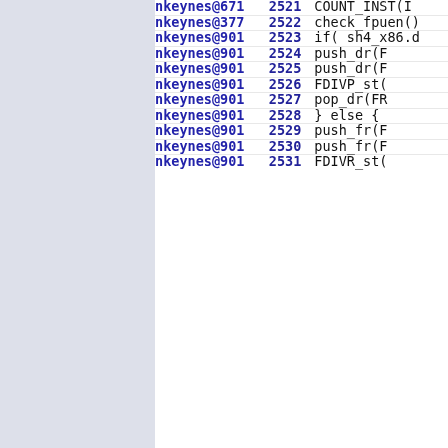| author | line | code |
| --- | --- | --- |
| nkeynes@671 | 2521 | COUNT_INST(I |
| nkeynes@377 | 2522 | check_fpuen() |
| nkeynes@901 | 2523 | if( sh4_x86.d |
| nkeynes@901 | 2524 |     push_dr(F |
| nkeynes@901 | 2525 |     push_dr(F |
| nkeynes@901 | 2526 |     FDIVP_st( |
| nkeynes@901 | 2527 |     pop_dr(FR |
| nkeynes@901 | 2528 | } else { |
| nkeynes@901 | 2529 |     push_fr(F |
| nkeynes@901 | 2530 |     push_fr(F |
| nkeynes@901 | 2531 | FDIVR_st( |